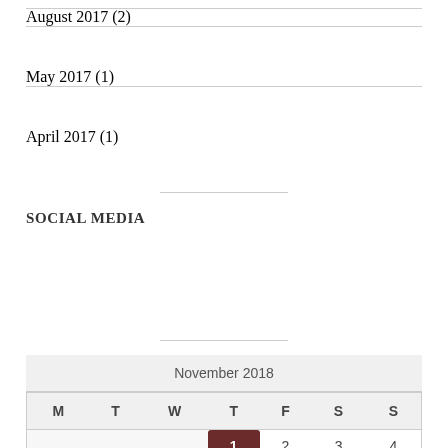August 2017 (2)
May 2017 (1)
April 2017 (1)
SOCIAL MEDIA
| M | T | W | T | F | S | S |
| --- | --- | --- | --- | --- | --- | --- |
|  |  |  | 1 | 2 | 3 | 4 |